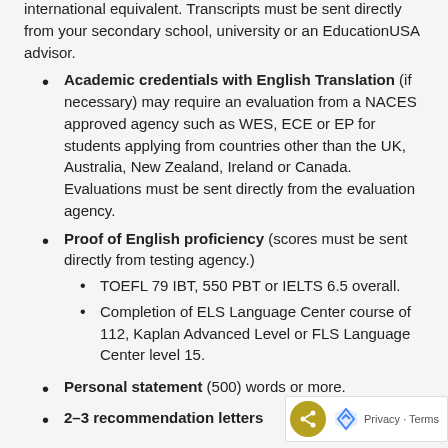international equivalent. Transcripts must be sent directly from your secondary school, university or an EducationUSA advisor.
Academic credentials with English Translation (if necessary) may require an evaluation from a NACES approved agency such as WES, ECE or EP for students applying from countries other than the UK, Australia, New Zealand, Ireland or Canada. Evaluations must be sent directly from the evaluation agency.
Proof of English proficiency (scores must be sent directly from testing agency.)
TOEFL 79 IBT, 550 PBT or IELTS 6.5 overall.
Completion of ELS Language Center course of 112, Kaplan Advanced Level or FLS Language Center level 15.
Personal statement (500) words or more.
2–3 recommendation letters